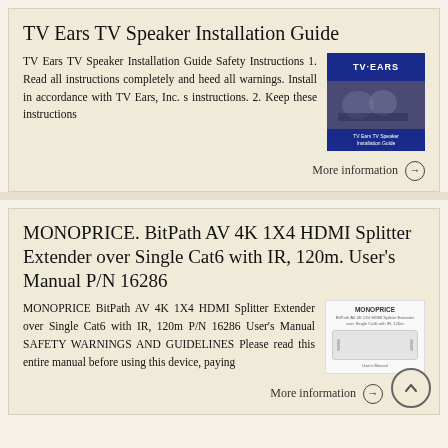TV Ears TV Speaker Installation Guide
TV Ears TV Speaker Installation Guide Safety Instructions 1. Read all instructions completely and heed all warnings. Install in accordance with TV Ears, Inc. s instructions. 2. Keep these instructions
[Figure (photo): TV Ears product image with TV Ears logo and product photo showing people watching TV, labeled 'TV Ears TV Speaker Installation Guide']
More information →
MONOPRICE. BitPath AV 4K 1X4 HDMI Splitter Extender over Single Cat6 with IR, 120m. User's Manual P/N 16286
MONOPRICE BitPath AV 4K 1X4 HDMI Splitter Extender over Single Cat6 with IR, 120m P/N 16286 User's Manual SAFETY WARNINGS AND GUIDELINES Please read this entire manual before using this device, paying
[Figure (photo): Monoprice product manual cover image showing a white HDMI splitter device with Monoprice branding]
More information →